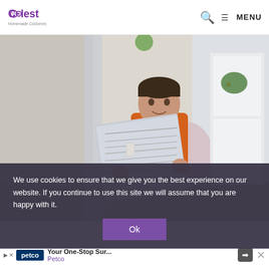Coolest Homemade Costumes — MENU
[Figure (photo): Young boy wearing an orange shirt, sitting on a toilet holding a newspaper up, in a bathroom with white walls and a refrigerator visible. The child is looking at the camera over the newspaper.]
We use cookies to ensure that we give you the best experience on our website. If you continue to use this site we will assume that you are happy with it.
Ok
Your One-Stop Sur... Petco